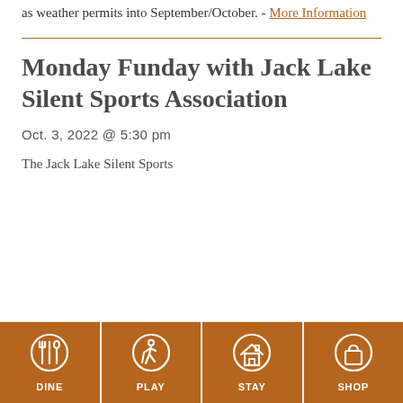as weather permits into September/October. - More Information
Monday Funday with Jack Lake Silent Sports Association
Oct. 3, 2022 @ 5:30 pm
The Jack Lake Silent Sports
[Figure (infographic): Footer navigation bar with four icons on brown/orange background: DINE (fork and spoon icon), PLAY (hiker icon), STAY (house icon), SHOP (shopping bag icon)]